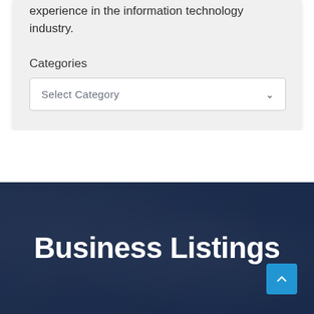experience in the information technology industry.
Categories
Select Category
Business Listings